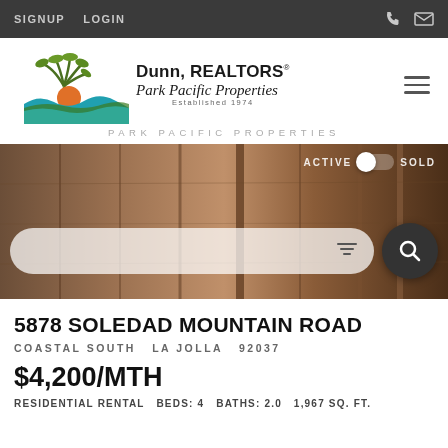SIGNUP  LOGIN
[Figure (logo): Dunn, REALTORS Park Pacific Properties logo with palm tree, ocean wave and sunset graphic. Established 1974.]
PARK PACIFIC PROPERTIES
[Figure (screenshot): Hero background photo of wooden door panels. Overlaid with ACTIVE/SOLD toggle and a search bar with filter icon and search button.]
5878 SOLEDAD MOUNTAIN ROAD
COASTAL SOUTH  LA JOLLA  92037
$4,200/MTH
RESIDENTIAL RENTAL  BEDS: 4  BATHS: 2.0  1,967 SQ. FT.